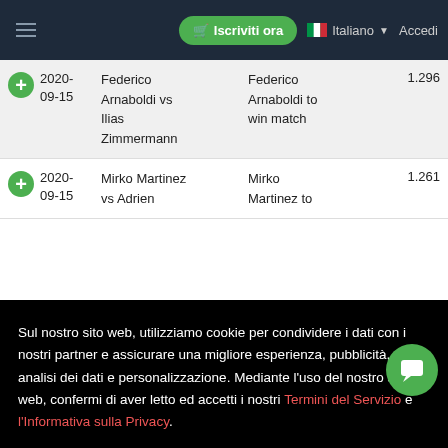Iscriviti ora | Italiano | Accedi
|  | Date | Match | Bet | Odds |
| --- | --- | --- | --- | --- |
|  | 2020-09-15 | Federico Arnaboldi vs Ilias Zimmermann | Federico Arnaboldi to win match | 1.296 |
|  | 2020- | Mirko Martinez vs Adrien | Mirko Martinez to | 1.261 |
Sul nostro sito web, utilizziamo cookie per condividere i dati con i nostri partner e assicurare una migliore esperienza, pubblicità, analisi dei dati e personalizzazione. Mediante l'uso del nostro sito web, confermi di aver letto ed accetti i nostri Termini del Servizio e l'Informativa sulla Privacy.
Accetta
Jakub Paul vs Genaro